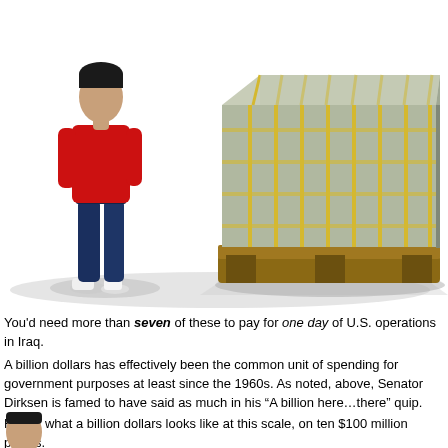[Figure (illustration): A person in a red shirt and blue jeans standing next to a large pallet stacked with bundled currency (representing $100 million), with a shadow behind both. The pallet of money is roughly chest-height on the person.]
You'd need more than seven of these to pay for one day of U.S. operations in Iraq.
A billion dollars has effectively been the common unit of spending for government purposes at least since the 1960s. As noted, above, Senator Dirksen is famed to have said as much in his “A billion here…there” quip.
Here’s what a billion dollars looks like at this scale, on ten $100 million pallets.
[Figure (illustration): Partial view of person's head at bottom left corner, cropped by page boundary.]